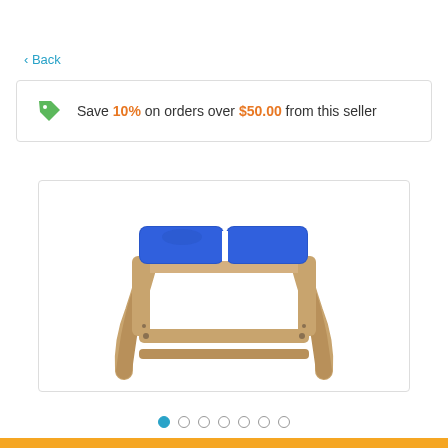< Back
Save 10% on orders over $50.00 from this seller
[Figure (photo): A yoga headstand bench with a wooden frame and blue padded cushions on top, shown at an angle against a white background.]